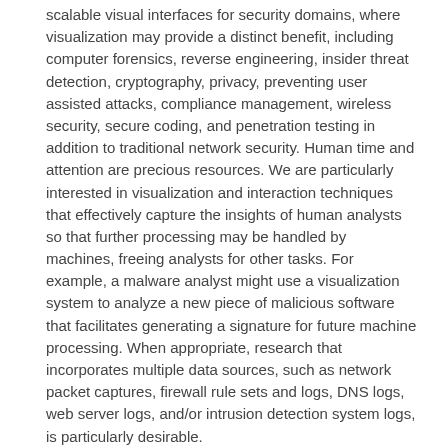scalable visual interfaces for security domains, where visualization may provide a distinct benefit, including computer forensics, reverse engineering, insider threat detection, cryptography, privacy, preventing user assisted attacks, compliance management, wireless security, secure coding, and penetration testing in addition to traditional network security. Human time and attention are precious resources. We are particularly interested in visualization and interaction techniques that effectively capture the insights of human analysts so that further processing may be handled by machines, freeing analysts for other tasks. For example, a malware analyst might use a visualization system to analyze a new piece of malicious software that facilitates generating a signature for future machine processing. When appropriate, research that incorporates multiple data sources, such as network packet captures, firewall rule sets and logs, DNS logs, web server logs, and/or intrusion detection system logs, is particularly desirable.
Full papers describing novel contributions in security visualization are solicited. Papers may present techniques, applications, practical experience, theory, analysis, or experiments and evaluations.